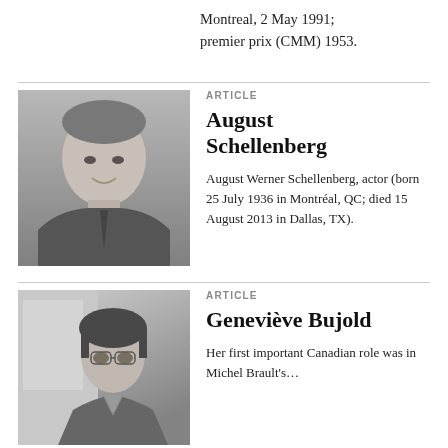Montreal, 2 May 1991; premier prix (CMM) 1953.
[Figure (photo): Black and white portrait photo of August Schellenberg, an older man smiling, wearing a suit]
ARTICLE
August Schellenberg
August Werner Schellenberg, actor (born 25 July 1936 in Montréal, QC; died 15 August 2013 in Dallas, TX).
[Figure (photo): Black and white photo of Geneviève Bujold, a young woman with short dark hair]
ARTICLE
Geneviève Bujold
Her first important Canadian role was in Michel Brault's...